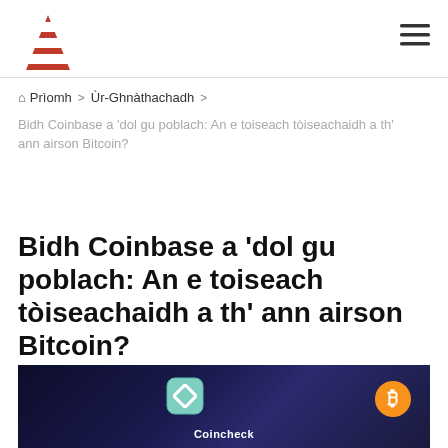[Figure (logo): Red and white layered sail/chevron logo]
Prìomh > Ùr-Ghnàthachadh >
Bidh Coinbase a 'dol gu poblach: An e toiseach tòiseachaidh a th' ann airson Bitcoin?
Bidh Coinbase a 'dol gu poblach: An e toiseach tòiseachaidh a th' ann airson Bitcoin?
[Figure (photo): Close-up of a smartphone screen showing the Coinbase app icon (green square with a rounded rectangle) and the Coincheck app label, alongside a Bitcoin icon (orange circle with B symbol), on a dark blue/purple background.]